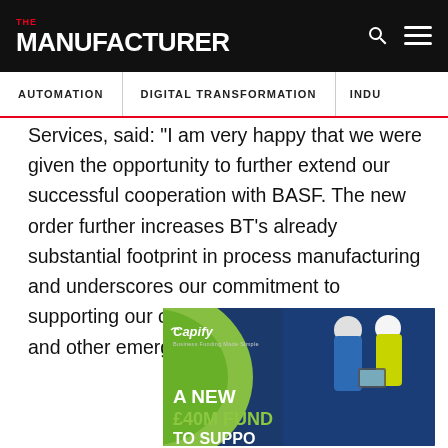THE MANUFACTURER | AUTOMATION | DIGITAL TRANSFORMATION | INDU...
Services, said: "I am very happy that we were given the opportunity to further extend our successful cooperation with BASF. The new order further increases BT's already substantial footprint in process manufacturing and underscores our commitment to supporting our clients in Asia, Latin America and other emerging markets."
[Figure (photo): Capify advertisement banner showing two manufacturing workers in hard hats and high-visibility jackets looking at a tablet. Text reads: Capify Business Funding Made Simple, A NEW £40M FUND TO SUPPORT...]